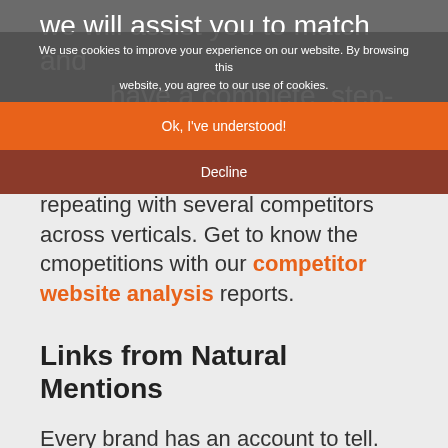we will assist you to match and ...have a complete, step-by-step procedure to obtain links from websites that link to your contenders and go one-up on them by rinsing and repeating with several competitors across verticals. Get to know the cmopetitions with our competitor website analysis reports.
We use cookies to improve your experience on our website. By browsing this website, you agree to our use of cookies.
Ok, I've understood!
Decline
Links from Natural Mentions
Every brand has an account to tell. Every brand has a lot of stories to notify. Be it product launches, consumer success or also community...